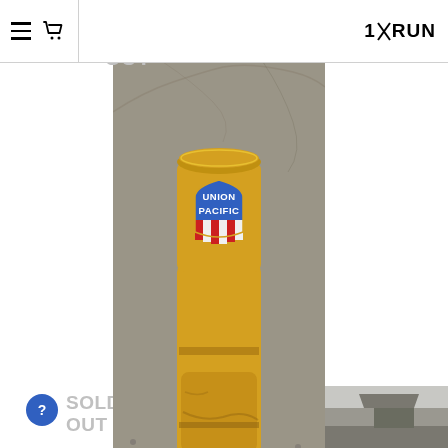1×RUN
[Figure (photo): Photo of a yellow rusty cylindrical can/container with a Union Pacific railroad shield logo (blue top, red and white stripes below) sitting on gravel ground with dry brush in background.]
Favorite ☆
LYRIC ONE
Union Pacific - II
SOLD OUT
[Figure (photo): Partial photo of another Union Pacific related artwork/print visible at bottom right.]